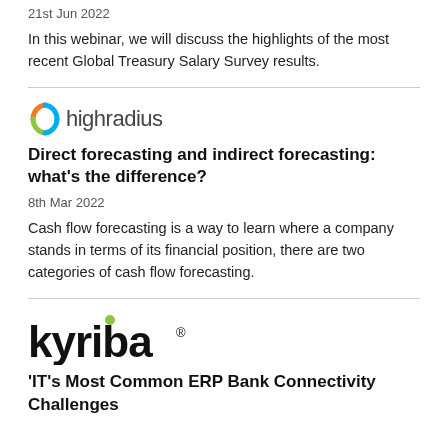21st Jun 2022
In this webinar, we will discuss the highlights of the most recent Global Treasury Salary Survey results.
[Figure (logo): HighRadius logo with circular orange/blue/green icon and text 'highradius']
Direct forecasting and indirect forecasting: what’s the difference?
8th Mar 2022
Cash flow forecasting is a way to learn where a company stands in terms of its financial position, there are two categories of cash flow forecasting.
[Figure (logo): Kyriba logo in bold black text with a green dot above the 'i']
‘IT’s Most Common ERP Bank Connectivity Challenges